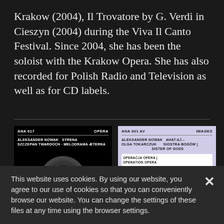Krakow (2004), Il Trovatore by G. Verdi in Cieszyn (2004) during the Viva Il Canto Festival. Since 2004, she has been the soloist with the Krakow Opera. She has also recorded for Polish Radio and Television as well as for CD labels.
[Figure (illustration): Album card: ANA 017 OPERA - ALEKSANDER NOWAK SYRENA / SZCZEPAN TWARDOCH MELODRAMA ÆTERNA with vinyl disc image]
[Figure (illustration): Album card: ANA 001 AV IMAGES - ALEKSANDER NOWAK / OLGA TOKARCZUK - AHAT-ILĪ – SIOSTRA BOGÓW | SISTER OF GODS / OPERACJA OPERA | OPERATION OPERA with purple design]
This website uses cookies. By using our website, you agree to our use of cookies so that you can conveniently browse our website. You can change the settings of these files at any time using the browser settings.